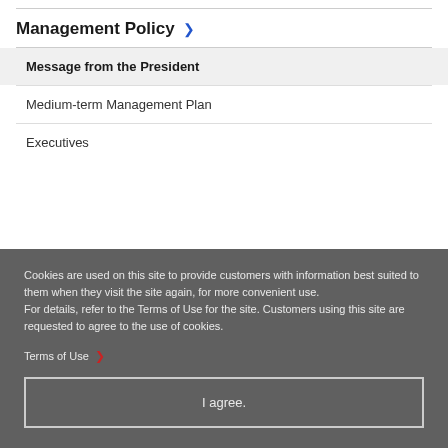Management Policy ›
Message from the President
Medium-term Management Plan
Executives
Cookies are used on this site to provide customers with information best suited to them when they visit the site again, for more convenient use.
For details, refer to the Terms of Use for the site. Customers using this site are requested to agree to the use of cookies.
Terms of Use ›
I agree.